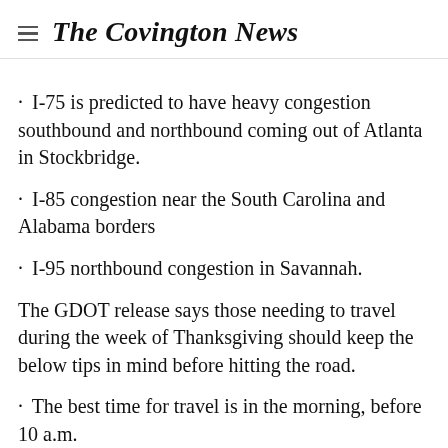The Covington News
I-75 is predicted to have heavy congestion southbound and northbound coming out of Atlanta in Stockbridge.
I-85 congestion near the South Carolina and Alabama borders
I-95 northbound congestion in Savannah.
The GDOT release says those needing to travel during the week of Thanksgiving should keep the below tips in mind before hitting the road.
The best time for travel is in the morning, before 10 a.m.
Traffic volumes begin to increase in the afternoon